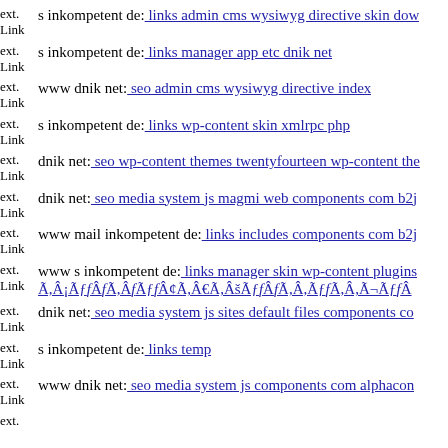ext. Link s inkompetent de: links admin cms wysiwyg directive skin dow
ext. Link s inkompetent de: links manager app etc dnik net
ext. Link www dnik net: seo admin cms wysiwyg directive index
ext. Link s inkompetent de: links wp-content skin xmlrpc php
ext. Link dnik net: seo wp-content themes twentyfourteen wp-content the
ext. Link dnik net: seo media system js magmi web components com b2j
ext. Link www mail inkompetent de: links includes components com b2j
ext. Link www s inkompetent de: links manager skin wp-content plugins Ã,Â¡Ãƒf ÂƒÃ,ÂƒÃƒf¢Ã,Â€Ã,ÂšÃƒfÂƒÃ,Â,Ãƒf Ã,Â,Ã¬Ãƒf
ext. Link dnik net: seo media system js sites default files components co
ext. Link s inkompetent de: links temp
ext. Link www dnik net: seo media system js components com alphacon
ext.